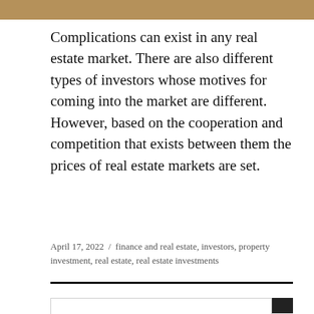[Figure (photo): Photo strip at top of page showing a partial real estate or interior scene in warm brown tones]
Complications can exist in any real estate market. There are also different types of investors whose motives for coming into the market are different. However, based on the cooperation and competition that exists between them the prices of real estate markets are set.
April 17, 2022  /  finance and real estate, investors, property investment, real estate, real estate investments